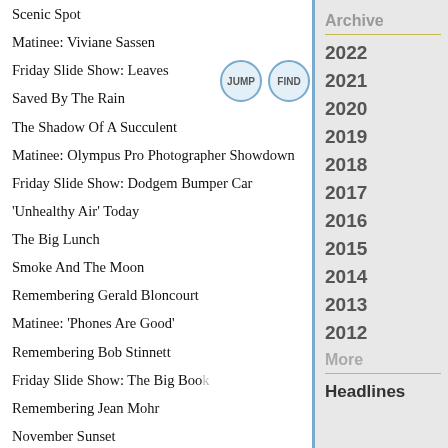Scenic Spot
Matinee: Viviane Sassen
Friday Slide Show: Leaves
Saved By The Rain
The Shadow Of A Succulent
Matinee: Olympus Pro Photographer Showdown
Friday Slide Show: Dodgem Bumper Car
'Unhealthy Air' Today
The Big Lunch
Smoke And The Moon
Remembering Gerald Bloncourt
Matinee: 'Phones Are Good'
Remembering Bob Stinnett
Friday Slide Show: The Big Book
Remembering Jean Mohr
November Sunset
Remembering Milton Gendel
Matinee: Jungblut's Pino Lella
Fall Back
Archive
2022
2021
2020
2019
2018
2017
2016
2015
2014
2013
2012
More
Headlines